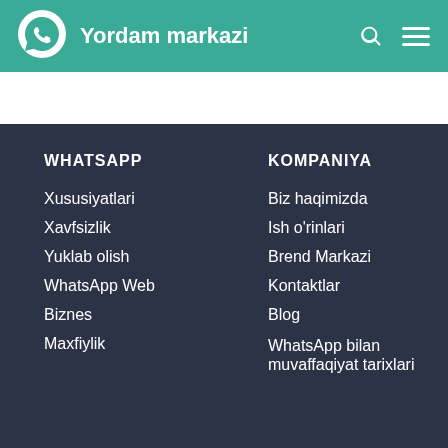Yordam markazi
WHATSAPP
Xususiyatlari
Xavfsizlik
Yuklab olish
WhatsApp Web
Biznes
Maxfiylik
KOMPANIYA
Biz haqimizda
Ish o'rinlari
Brend Markazi
Kontaktlar
Blog
WhatsApp bilan muvaffaqiyat tarixlari